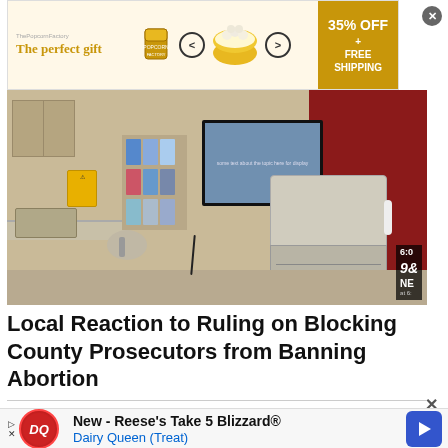[Figure (screenshot): Top banner advertisement for 'The perfect gift' showing popcorn bowl with 35% OFF + FREE SHIPPING offer]
[Figure (photo): Medical exam room interior with examination table, cabinet, biohazard box, pamphlet rack, monitor, counter and stool. Fox News 6:00 logo overlay in bottom right.]
Local Reaction to Ruling on Blocking County Prosecutors from Banning Abortion
[Figure (screenshot): Dairy Queen advertisement: New - Reese's Take 5 Blizzard® Dairy Queen (Treat) with DQ logo and blue arrow button]